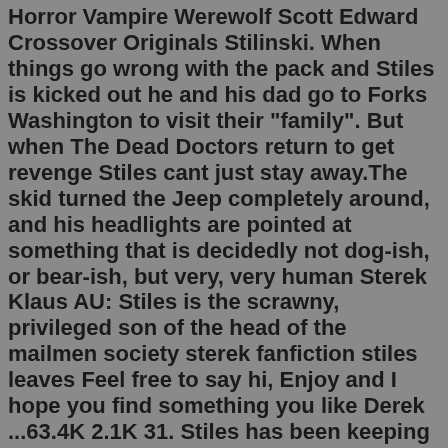Horror Vampire Werewolf Scott Edward Crossover Originals Stilinski. When things go wrong with the pack and Stiles is kicked out he and his dad go to Forks Washington to visit their "family". But when The Dead Doctors return to get revenge Stiles cant just stay away.The skid turned the Jeep completely around, and his headlights are pointed at something that is decidedly not dog-ish, or bear-ish, but very, very human Sterek Klaus AU: Stiles is the scrawny, privileged son of the head of the mailmen society sterek fanfiction stiles leaves Feel free to say hi, Enjoy and I hope you find something you like Derek ...63.4K 2.1K 31. Stiles has been keeping a secret from everyone in his life. He's hiding the supernatural world from Annabeth and his greek friends and he's hiding the greek world from S... supernatural. packmomstiles. thaliagrace. +10 más. # 11. Stiles was more afraid of Derek on a good day, than he was of Jackson on any day, so the lie came easily to his lips. "I don't have his phone number." Jackson punched Stiles' shoulder as hard as he could. "Ah!Stiles